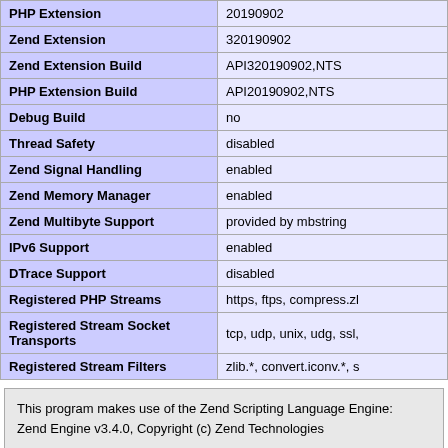| Property | Value |
| --- | --- |
| PHP Extension | 20190902 |
| Zend Extension | 320190902 |
| Zend Extension Build | API320190902,NTS |
| PHP Extension Build | API20190902,NTS |
| Debug Build | no |
| Thread Safety | disabled |
| Zend Signal Handling | enabled |
| Zend Memory Manager | enabled |
| Zend Multibyte Support | provided by mbstring |
| IPv6 Support | enabled |
| DTrace Support | disabled |
| Registered PHP Streams | https, ftps, compress.zl... |
| Registered Stream Socket Transports | tcp, udp, unix, udg, ssl,... |
| Registered Stream Filters | zlib.*, convert.iconv.*, s... |
This program makes use of the Zend Scripting Language Engine:
Zend Engine v3.4.0, Copyright (c) Zend Technologies
Configuration